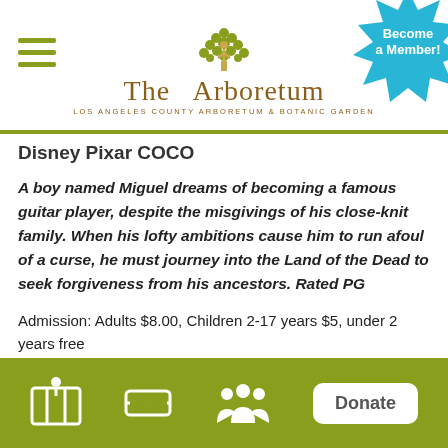[Figure (logo): The Arboretum - Los Angeles County Arboretum & Botanic Garden logo with tree icon and hamburger menu]
Disney Pixar COCO
A boy named Miguel dreams of becoming a famous guitar player, despite the misgivings of his close-knit family. When his lofty ambitions cause him to run afoul of a curse, he must journey into the Land of the Dead to seek forgiveness from his ancestors. Rated PG
Admission: Adults $8.00, Children 2-17 years $5, under 2 years free
Members are encouraged to bring friends and family, purchase up to 6 tickets in total.
Please note your ticket(s) are non-refundable. For this
[Figure (infographic): Bottom navigation bar with map icon, ticket icon, people/members icon, and Donate button on olive green background]